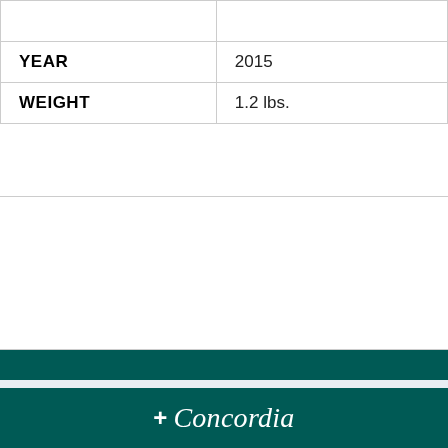| YEAR | 2015 |
| WEIGHT | 1.2 lbs. |
Back to Top
[Figure (logo): Concordia company logo with plus sign and italic script text on dark teal background]